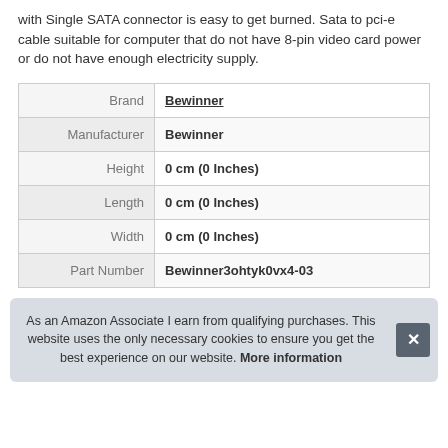with Single SATA connector is easy to get burned. Sata to pci-e cable suitable for computer that do not have 8-pin video card power or do not have enough electricity supply.
| Brand | Bewinner |
| Manufacturer | Bewinner |
| Height | 0 cm (0 Inches) |
| Length | 0 cm (0 Inches) |
| Width | 0 cm (0 Inches) |
| Part Number | Bewinner3ohtyk0vx4-03 |
As an Amazon Associate I earn from qualifying purchases. This website uses the only necessary cookies to ensure you get the best experience on our website. More information